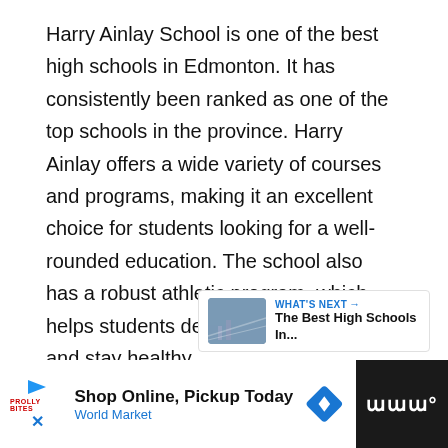Harry Ainlay School is one of the best high schools in Edmonton. It has consistently been ranked as one of the top schools in the province. Harry Ainlay offers a wide variety of courses and programs, making it an excellent choice for students looking for a well-rounded education. The school also has a robust athletic program, which helps students develop teamwork skills and stay healthy.
[Figure (screenshot): UI panel showing heart/like button (blue circle, count of 1), share button, 'What's Next' card with city thumbnail and title 'The Best High Schools In...']
[Figure (infographic): Advertisement banner: 'Shop Online, Pickup Today / World Market' with play button, brand logo, diamond navigation icon, and dark right panel with stylized 'W' logo]